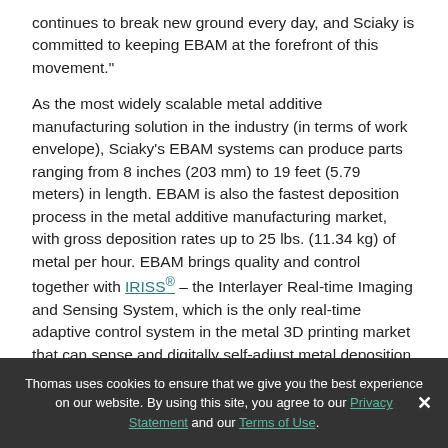continues to break new ground every day, and Sciaky is committed to keeping EBAM at the forefront of this movement."
As the most widely scalable metal additive manufacturing solution in the industry (in terms of work envelope), Sciaky's EBAM systems can produce parts ranging from 8 inches (203 mm) to 19 feet (5.79 meters) in length. EBAM is also the fastest deposition process in the metal additive manufacturing market, with gross deposition rates up to 25 lbs. (11.34 kg) of metal per hour. EBAM brings quality and control together with IRISS® – the Interlayer Real-time Imaging and Sensing System, which is the only real-time adaptive control system in the metal 3D printing market that can sense and digitally self-adjust metal deposition
Thomas uses cookies to ensure that we give you the best experience on our website. By using this site, you agree to our Privacy Statement and our Terms of Use.